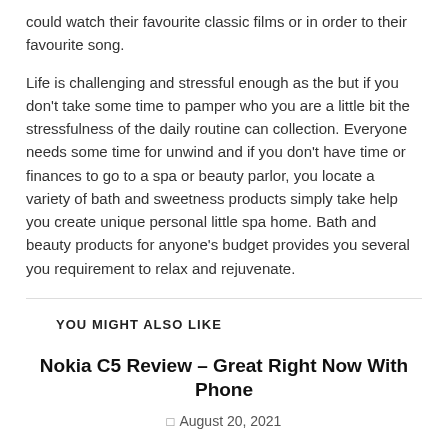could watch their favourite classic films or in order to their favourite song.
Life is challenging and stressful enough as the but if you don't take some time to pamper who you are a little bit the stressfulness of the daily routine can collection. Everyone needs some time for unwind and if you don't have time or finances to go to a spa or beauty parlor, you locate a variety of bath and sweetness products simply take help you create unique personal little spa home. Bath and beauty products for anyone's budget provides you several you requirement to relax and rejuvenate.
YOU MIGHT ALSO LIKE
Nokia C5 Review – Great Right Now With Phone
August 20, 2021